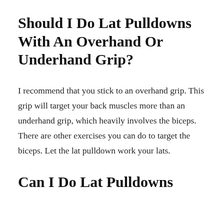Should I Do Lat Pulldowns With An Overhand Or Underhand Grip?
I recommend that you stick to an overhand grip. This grip will target your back muscles more than an underhand grip, which heavily involves the biceps. There are other exercises you can do to target the biceps. Let the lat pulldown work your lats.
Can I Do Lat Pulldowns